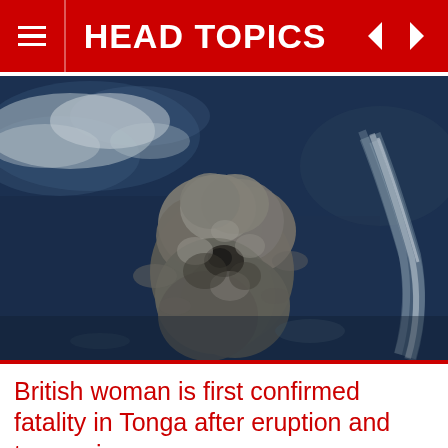HEAD TOPICS
[Figure (photo): Aerial or satellite view of a volcanic eruption plume over dark ocean water, showing a large grey ash cloud rising from an island, viewed from above. Dark blue ocean surrounds the eruption cloud with some white cloud formations visible.]
British woman is first confirmed fatality in Tonga after eruption and tsunami